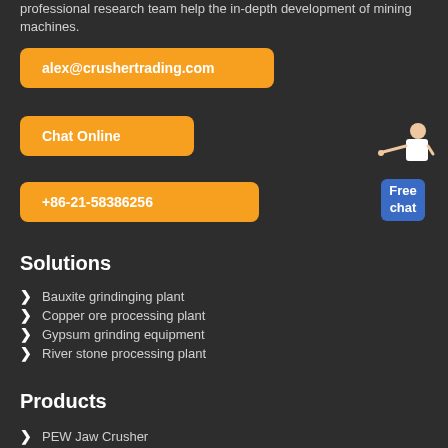professional research team help the in-depth development of mining machines.
alex@crushertrading.com
Chat Online
+86-21-58386256
[Figure (illustration): Customer service lady figure with Free chat blue box widget]
Solutions
Bauxite grindinging plant
Copper ore processing plant
Gypsum grinding equipment
River stone processing plant
Products
PEW Jaw Crusher